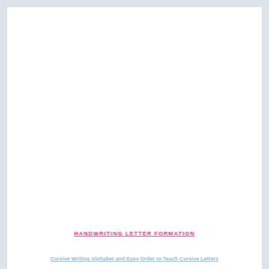HANDWRITING LETTER FORMATION
Cursive Writing Alphabet and Easy Order to Teach Cursive Letters